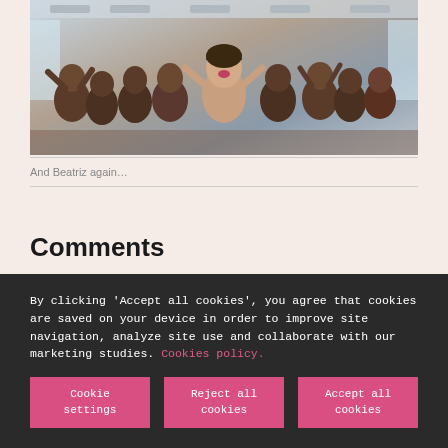[Figure (photo): A smiling woman with a group of Indian children inside what appears to be a bus or vehicle interior, all making joyful gestures]
And Beatriz again…
Comments
By clicking 'Accept all cookies', you agree that cookies are saved on your device in order to improve site navigation, analyze site use and collaborate with our marketing studies. Cookies policy.
Cookie settings
Reject all cookies
Accept all cookies